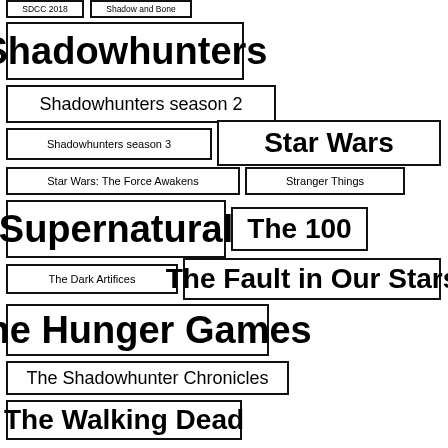SDCC 2018
Shadow and Bone
Shadowhunters
Shadowhunters season 2
Shadowhunters season 3
Star Wars
Star Wars: The Force Awakens
Stranger Things
Supernatural
The 100
The Dark Artifices
The Fault in Our Stars
The Hunger Games
The Shadowhunter Chronicles
The Walking Dead
To All the Boys I've Loved Before
Trailer